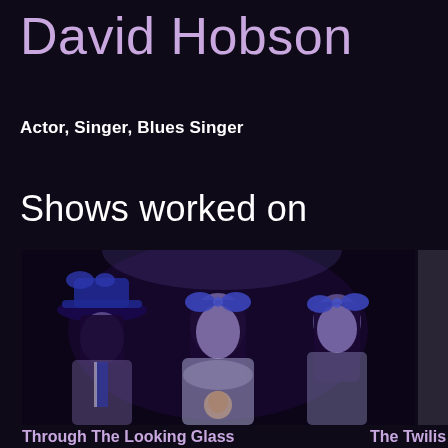David Hobson
Actor, Singer, Blues Singer
Shows worked on
[Figure (photo): Three performers in Victorian-style costumes with large striped bows in their dark hair and white dresses, illuminated by blue-purple stage lighting against a black background. The central figure holds what appears to be a doll or puppet head.]
Through The Looking Glass
The Twili